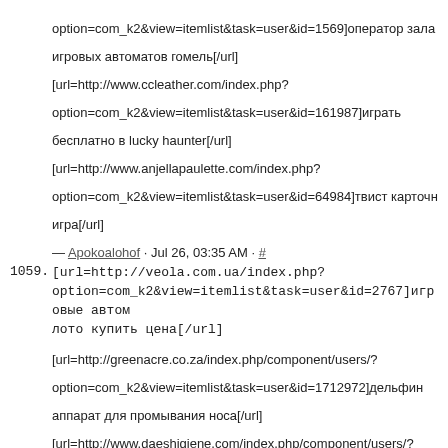option=com_k2&view=itemlist&task=user&id=1569]оператор зала игровых автоматов гомель[/url]
[url=http://www.ccleather.com/index.php?option=com_k2&view=itemlist&task=user&id=161987]играть бесплатно в lucky haunter[/url]
[url=http://www.anjellapaulette.com/index.php?option=com_k2&view=itemlist&task=user&id=64984]твист карточн игра[/url]
— Apokoalohof · Jul 26, 03:35 AM · #
1059. [url=http://veola.com.ua/index.php?option=com_k2&view=itemlist&task=user&id=2767]игровые автом лото купить цена[/url]
[url=http://greenacre.co.za/index.php/component/users/?option=com_k2&view=itemlist&task=user&id=1712972]дельфин аппарат для промывания носа[/url]
[url=http://www.daeshigiene.com/index.php/component/users/?option=com_k2&view=itemlist&task=user&id=25502]игровые автоматы обезьянки играть онлайн[/url]
[url=http://cappanni.cz/index.php?option=com_k2&view=itemlist&task=user&id=13353]карточные бо